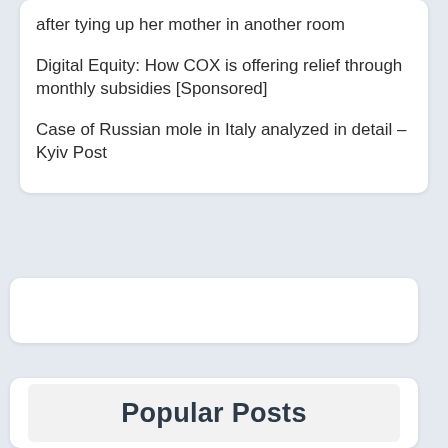after tying up her mother in another room
Digital Equity: How COX is offering relief through monthly subsidies [Sponsored]
Case of Russian mole in Italy analyzed in detail – Kyiv Post
[Figure (other): Empty white card/advertisement placeholder]
Popular Posts